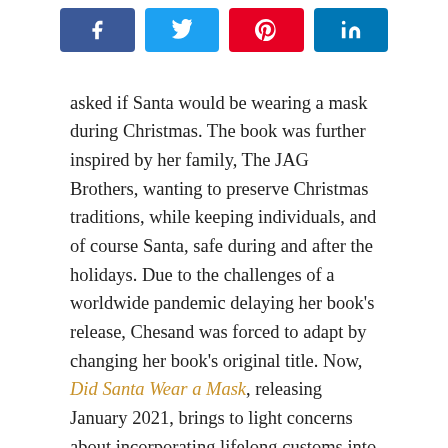[Figure (other): Social share buttons row: Facebook (blue), Twitter (light blue), Pinterest (red), LinkedIn (dark blue)]
asked if Santa would be wearing a mask during Christmas. The book was further inspired by her family, The JAG Brothers, wanting to preserve Christmas traditions, while keeping individuals, and of course Santa, safe during and after the holidays. Due to the challenges of a worldwide pandemic delaying her book's release, Chesand was forced to adapt by changing her book's original title. Now, Did Santa Wear a Mask, releasing January 2021, brings to light concerns about incorporating lifelong customs into a space where new safety guidelines are a must.
Author, Chesand “Chessi” Gregory is a trained high school educator with an expertise in nutrition and teaching experiences spanning Preschool, Elementary and High school. Her love of the arts led her to the study of Couture Designs and winning awards in